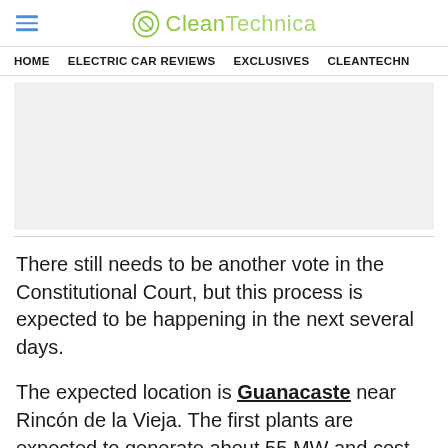CleanTechnica
HOME  ELECTRIC CAR REVIEWS  EXCLUSIVES  CLEANTECHN
[Figure (other): Advertisement placeholder gray box]
There still needs to be another vote in the Constitutional Court, but this process is expected to be happening in the next several days.
The expected location is Guanacaste near Rincón de la Vieja. The first plants are expected to generate about 55 MW and cost